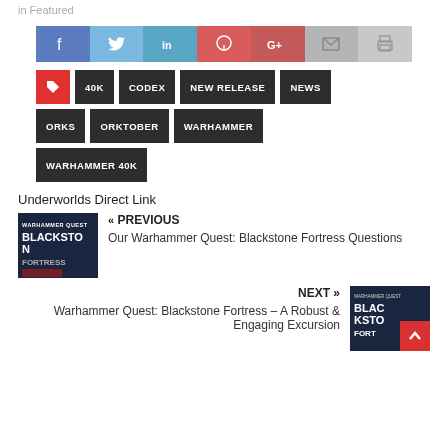in Featured
[Figure (infographic): Social sharing buttons row: Facebook (blue), Twitter (light blue), LinkedIn (teal), Pinterest (red), Google+ (red), Email (grey), Print (light grey)]
40K
CODEX
NEW RELEASE
NEWS
ORKS
ORKTOBER
WARHAMMER
WARHAMMER 40K
Underworlds Direct Link
« PREVIOUS
Our Warhammer Quest: Blackstone Fortress Questions
NEXT »
Warhammer Quest: Blackstone Fortress – A Robust & Engaging Excursion